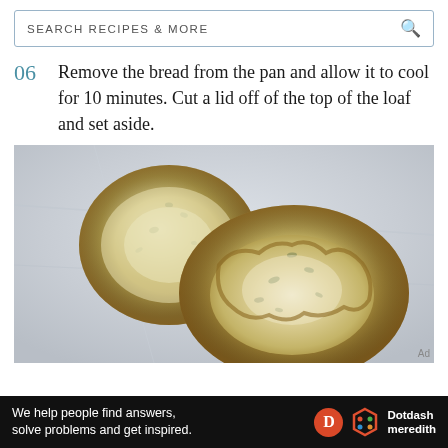SEARCH RECIPES & MORE
06  Remove the bread from the pan and allow it to cool for 10 minutes. Cut a lid off of the top of the loaf and set aside.
[Figure (photo): A bread loaf cut open, with the top lid placed to the left. The bread interior shows a moist, herb-flecked crumb. Both pieces rest on a light marble surface.]
Ad
We help people find answers, solve problems and get inspired.
[Figure (logo): Dotdash Meredith logo — red circle with D, multicolor hexagon, and Dotdash meredith text]